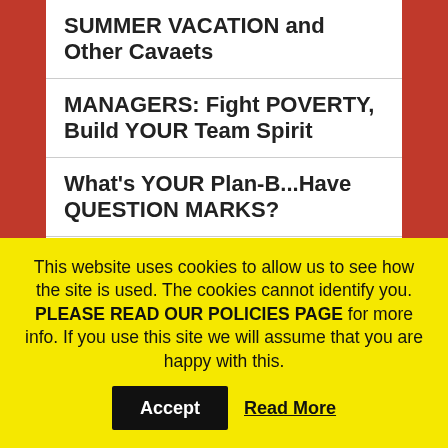SUMMER VACATION and Other Cavaets
MANAGERS: Fight POVERTY, Build YOUR Team Spirit
What's YOUR Plan-B...Have QUESTION MARKS?
No I in Infrastructure, but SURVIVAL, Yes!
Succeed WILDLY !!
Do You Understand The LAW of KARMA?
Coincidence? More Like Competition
This website uses cookies to allow us to see how the site is used. The cookies cannot identify you. PLEASE READ OUR POLICIES PAGE for more info. If you use this site we will assume that you are happy with this.
Accept
Read More